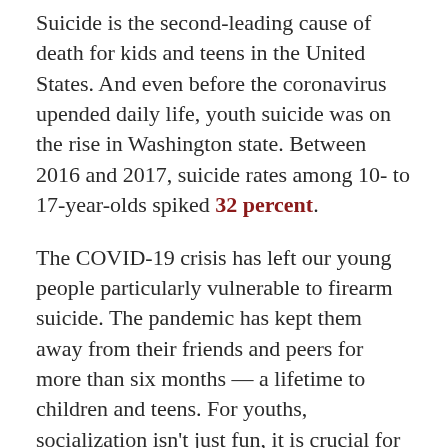Suicide is the second-leading cause of death for kids and teens in the United States. And even before the coronavirus upended daily life, youth suicide was on the rise in Washington state. Between 2016 and 2017, suicide rates among 10- to 17-year-olds spiked 32 percent.
The COVID-19 crisis has left our young people particularly vulnerable to firearm suicide. The pandemic has kept them away from their friends and peers for more than six months — a lifetime to children and teens. For youths, socialization isn't just fun, it is crucial for development. Young people need social connections to develop a sense of identity and belonging. And experts